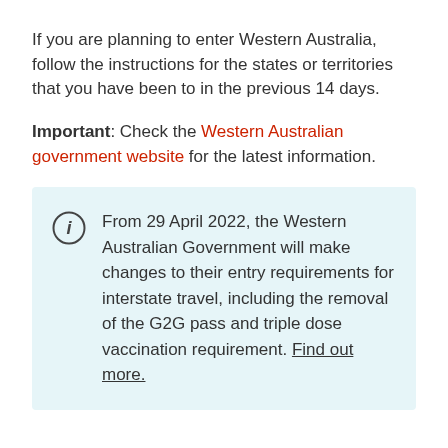If you are planning to enter Western Australia, follow the instructions for the states or territories that you have been to in the previous 14 days.
Important: Check the Western Australian government website for the latest information.
From 29 April 2022, the Western Australian Government will make changes to their entry requirements for interstate travel, including the removal of the G2G pass and triple dose vaccination requirement. Find out more.